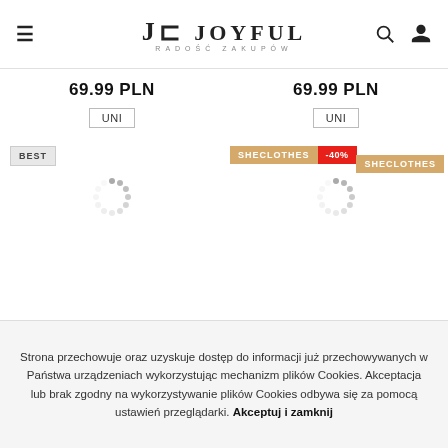JF JOYFUL RADOŚĆ ZAKUPÓW
69.99 PLN
UNI
69.99 PLN
UNI
BEST
SHECLOTHES -40%
SHECLOTHES
[Figure (other): Loading spinner (grey circular spinner animation)]
[Figure (other): Loading spinner (grey circular spinner animation)]
Strona przechowuje oraz uzyskuje dostęp do informacji już przechowywanych w Państwa urządzeniach wykorzystując mechanizm plików Cookies. Akceptacja lub brak zgodny na wykorzystywanie plików Cookies odbywa się za pomocą ustawień przeglądarki. Akceptuj i zamknij